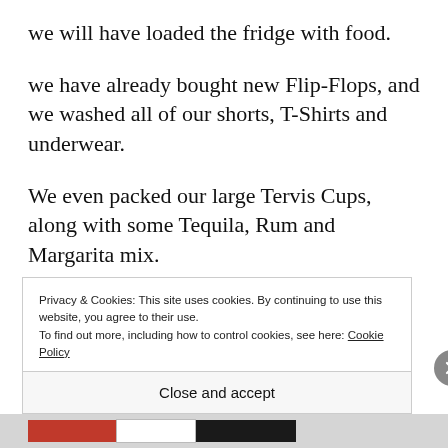we will have loaded the fridge with food.
we have already bought new Flip-Flops, and we washed all of our shorts, T-Shirts and underwear.
We even packed our large Tervis Cups, along with some Tequila, Rum and Margarita mix.
What else do we need?
Privacy & Cookies: This site uses cookies. By continuing to use this website, you agree to their use.
To find out more, including how to control cookies, see here: Cookie Policy
Close and accept